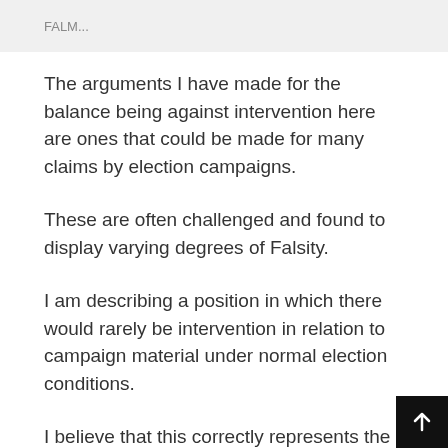FALM...
The arguments I have made for the balance being against intervention here are ones that could be made for many claims by election campaigns.
These are often challenged and found to display varying degrees of Falsity.
I am describing a position in which there would rarely be intervention in relation to campaign material under normal election conditions.
I believe that this correctly represents the status quo for where platforms would like to be but this has become a controversial stance.
This is not a blanket exemption as the balance might